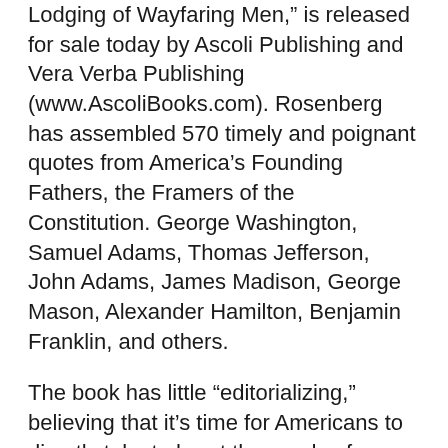Lodging of Wayfaring Men,” is released for sale today by Ascoli Publishing and Vera Verba Publishing (www.AscoliBooks.com). Rosenberg has assembled 570 timely and poignant quotes from America’s Founding Fathers, the Framers of the Constitution. George Washington, Samuel Adams, Thomas Jefferson, John Adams, James Madison, George Mason, Alexander Hamilton, Benjamin Franklin, and others.
The book has little “editorializing,” believing that it’s time for Americans to directly take to heart the words of our Founders — even read how the Founders’ own ideas changed over the years. There are some amazing quotes and thoughts that were left out of our “civics”